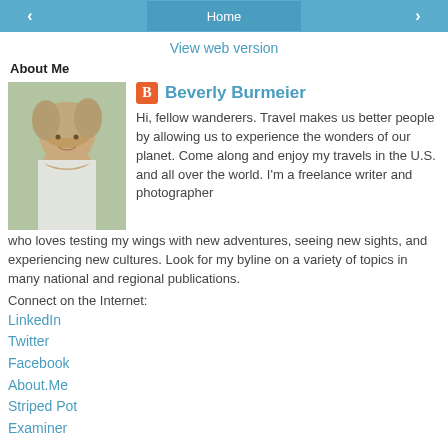< Home >
View web version
About Me
[Figure (photo): Profile photo of Beverly Burmeier, a woman with blonde hair wearing a white top, outdoors with greenery in background]
Beverly Burmeier
Hi, fellow wanderers. Travel makes us better people by allowing us to experience the wonders of our planet. Come along and enjoy my travels in the U.S. and all over the world. I'm a freelance writer and photographer who loves testing my wings with new adventures, seeing new sights, and experiencing new cultures. Look for my byline on a variety of topics in many national and regional publications.
Connect on the Internet:
LinkedIn
Twitter
Facebook
About.Me
Striped Pot
Examiner
View my complete profile